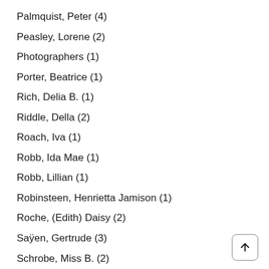Palmquist, Peter (4)
Peasley, Lorene (2)
Photographers (1)
Porter, Beatrice (1)
Rich, Delia B. (1)
Riddle, Della (2)
Roach, Iva (1)
Robb, Ida Mae (1)
Robb, Lillian (1)
Robinsteen, Henrietta Jamison (1)
Roche, (Edith) Daisy (2)
Saÿen, Gertrude (3)
Schrobe, Miss B. (2)